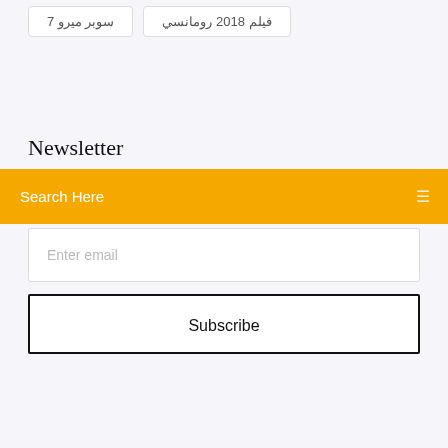فيلم 2018 رومانسي
سوبر ميرو 7
Newsletter
Search Here
Enter email
Subscribe